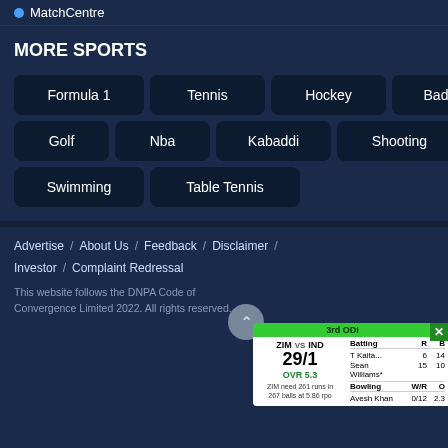MatchCentre
MORE SPORTS
Formula 1
Tennis
Hockey
Badminton
Golf
Nba
Kabaddi
Shooting
Swimming
Table Tennis
Advertise / About Us / Feedback / Disclaimer /
Investor / Complaint Redressal
This website follows the DNPA Code of Convergence Limited 2022. All rights reserved.
[Figure (screenshot): Cricket scorecard overlay showing 3rd ODI: ZIM vs IND, score 29/1, OVR 5.3. ZIM need 261 runs in 267 balls at 5.86 rpo. Batting: T Kaita... 6 R 14 B; Sean Williams* 15 R 10 B. Bowling: Avesh Khan 0/12 2.3 O.]